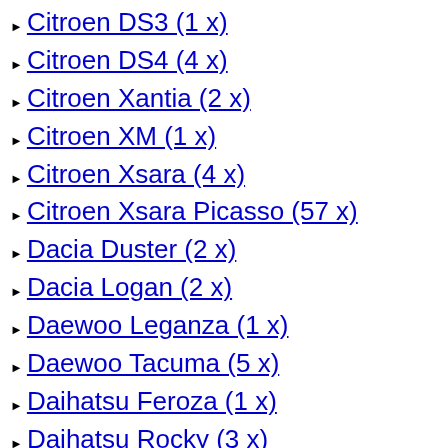Citroen DS3 (1 x)
Citroen DS4 (4 x)
Citroen Xantia (2 x)
Citroen XM (1 x)
Citroen Xsara (4 x)
Citroen Xsara Picasso (57 x)
Dacia Duster (2 x)
Dacia Logan (2 x)
Daewoo Leganza (1 x)
Daewoo Tacuma (5 x)
Daihatsu Feroza (1 x)
Daihatsu Rocky (3 x)
Daihatsu Terios (3 x)
Dodge Avenger (1 x)